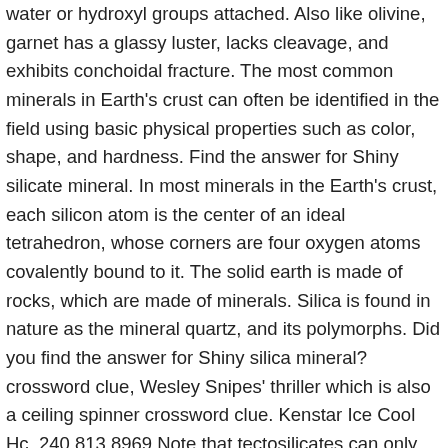water or hydroxyl groups attached. Also like olivine, garnet has a glassy luster, lacks cleavage, and exhibits conchoidal fracture. The most common minerals in Earth's crust can often be identified in the field using basic physical properties such as color, shape, and hardness. Find the answer for Shiny silicate mineral. In most minerals in the Earth's crust, each silicon atom is the center of an ideal tetrahedron, whose corners are four oxygen atoms covalently bound to it. The solid earth is made of rocks, which are made of minerals. Silica is found in nature as the mineral quartz, and its polymorphs. Did you find the answer for Shiny silica mineral? crossword clue, Wesley Snipes' thriller which is also a ceiling spinner crossword clue. Kenstar Ice Cool Hc, 240.813.8969 Note that tectosilicates can only have additional cations if some of the silicon is replaced by an atom of lower valence such as aluminium. Biotite also has a shiny black appearance that helps distinguish it from the other dark ferromagnesian minerals. Shiny silicate mineral -- Find potential answers to this crossword clue at crosswordnexus.com Two